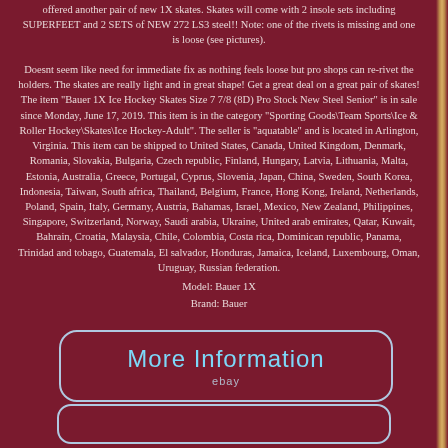offered another pair of new 1X skates. Skates will come with 2 insole sets including SUPERFEET and 2 SETS of NEW 272 LS3 steel!! Note: one of the rivets is missing and one is loose (see pictures).
Doesnt seem like need for immediate fix as nothing feels loose but pro shops can re-rivet the holders. The skates are really light and in great shape! Get a great deal on a great pair of skates! The item "Bauer 1X Ice Hockey Skates Size 7 7/8 (8D) Pro Stock New Steel Senior" is in sale since Monday, June 17, 2019. This item is in the category "Sporting Goods\Team Sports\Ice & Roller Hockey\Skates\Ice Hockey-Adult". The seller is "aquatable" and is located in Arlington, Virginia. This item can be shipped to United States, Canada, United Kingdom, Denmark, Romania, Slovakia, Bulgaria, Czech republic, Finland, Hungary, Latvia, Lithuania, Malta, Estonia, Australia, Greece, Portugal, Cyprus, Slovenia, Japan, China, Sweden, South Korea, Indonesia, Taiwan, South africa, Thailand, Belgium, France, Hong Kong, Ireland, Netherlands, Poland, Spain, Italy, Germany, Austria, Bahamas, Israel, Mexico, New Zealand, Philippines, Singapore, Switzerland, Norway, Saudi arabia, Ukraine, United arab emirates, Qatar, Kuwait, Bahrain, Croatia, Malaysia, Chile, Colombia, Costa rica, Dominican republic, Panama, Trinidad and tobago, Guatemala, El salvador, Honduras, Jamaica, Iceland, Luxembourg, Oman, Uruguay, Russian federation.
Model: Bauer 1X
Brand: Bauer
[Figure (other): eBay 'More Information' button with rounded rectangle border, cyan text reading 'More Information' and 'ebay' label below]
[Figure (other): Partial bottom button stub with rounded rectangle border]